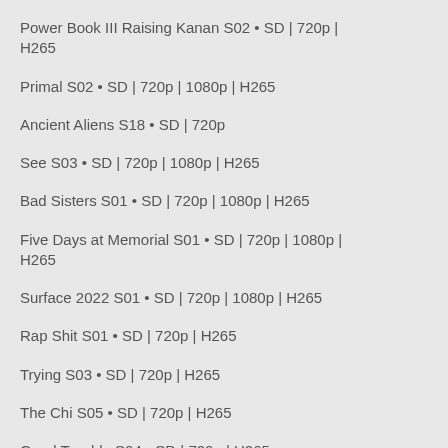Power Book III Raising Kanan S02 • SD | 720p | H265
Primal S02 • SD | 720p | 1080p | H265
Ancient Aliens S18 • SD | 720p
See S03 • SD | 720p | 1080p | H265
Bad Sisters S01 • SD | 720p | 1080p | H265
Five Days at Memorial S01 • SD | 720p | 1080p | H265
Surface 2022 S01 • SD | 720p | 1080p | H265
Rap Shit S01 • SD | 720p | H265
Trying S03 • SD | 720p | H265
The Chi S05 • SD | 720p | H265
Good Trouble S04 • SD | 720p | H265